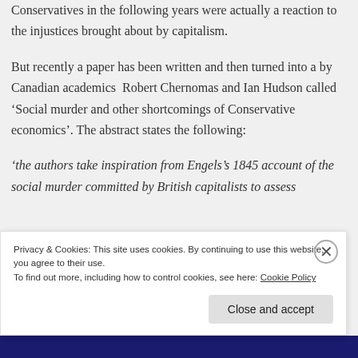Conservatives in the following years were actually a reaction to the injustices brought about by capitalism.
But recently a paper has been written and then turned into a by Canadian academics Robert Chernomas and Ian Hudson called ‘Social murder and other shortcomings of Conservative economics’. The abstract states the following:
‘the authors take inspiration from Engels’s 1845 account of the social murder committed by British capitalists to assess
Privacy & Cookies: This site uses cookies. By continuing to use this website, you agree to their use.
To find out more, including how to control cookies, see here: Cookie Policy